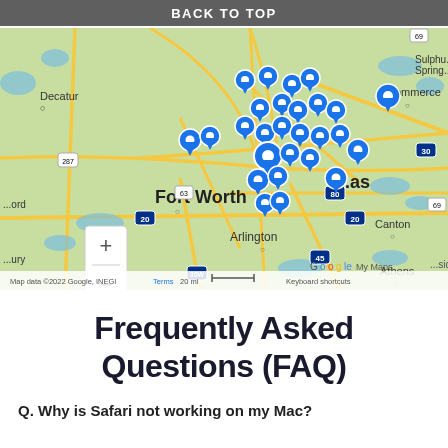[Figure (map): Google My Maps showing the Dallas–Fort Worth metro area with multiple blue location pins clustered around Dallas. Map includes Fort Worth, Arlington, Canton, Athens, Commerce, Sulphur Springs, and surrounding areas. Map data ©2022 Google, INEGI. Zoom controls visible at bottom left. Scale bar shows 20 mi.]
Frequently Asked Questions (FAQ)
Q. Why is Safari not working on my Mac?